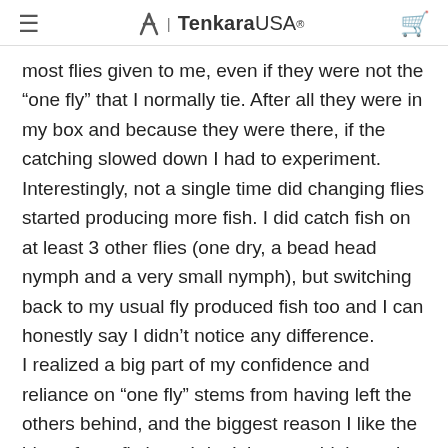≡  Tenkara USA®  🛒
most flies given to me, even if they were not the “one fly” that I normally tie. After all they were in my box and because they were there, if the catching slowed down I had to experiment. Interestingly, not a single time did changing flies started producing more fish. I did catch fish on at least 3 other flies (one dry, a bead head nymph and a very small nymph), but switching back to my usual fly produced fish too and I can honestly say I didn’t notice any difference. I realized a big part of my confidence and reliance on “one fly” stems from having left the others behind, and the biggest reason I like the idea of one fly is so I don’t have to think much about what I’ll be using, nor spend a lot of time working on flies or second-guessing my